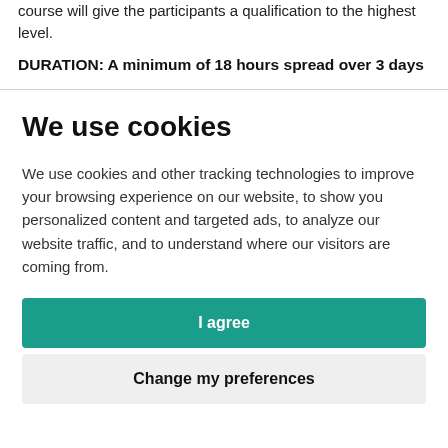course will give the participants a qualification to the highest level.
DURATION: A minimum of 18 hours spread over 3 days
We use cookies
We use cookies and other tracking technologies to improve your browsing experience on our website, to show you personalized content and targeted ads, to analyze our website traffic, and to understand where our visitors are coming from.
I agree
Change my preferences